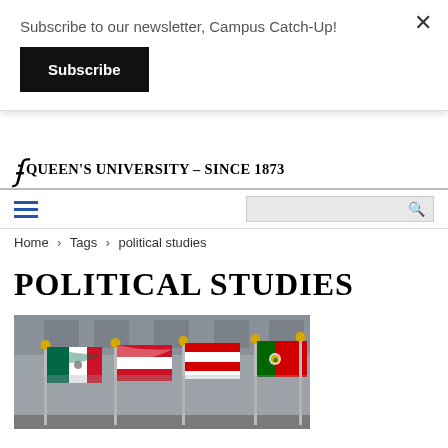Subscribe to our newsletter, Campus Catch-Up!
Subscribe
QUEEN'S UNIVERSITY – SINCE 1873
Home > Tags > political studies
POLITICAL STUDIES
[Figure (photo): Photograph of multiple international flags on flagpoles in front of a building, including flags of Mexico, an unidentified red and white flag, and Portugal.]